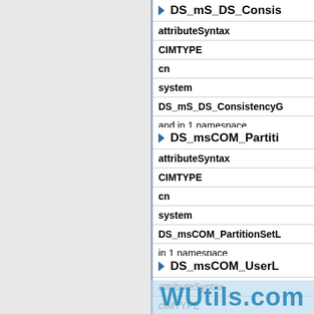| DS_mS_DS_ConsistencyG... |
| --- |
| attributeSyntax |
| CIMTYPE |
| cn |
| system |
| DS_mS_DS_ConsistencyG... |
| and in 1 namespace |
| DS_msCOM_Partiti... |
| --- |
| attributeSyntax |
| CIMTYPE |
| cn |
| system |
| DS_msCOM_PartitionSetL... |
| in 1 namespace |
| DS_msCOM_UserL... |
| --- |
| attributeSyntax |
| CIMTYPE |
| cn |
[Figure (other): WUtils.com watermark overlay on the bottom section]